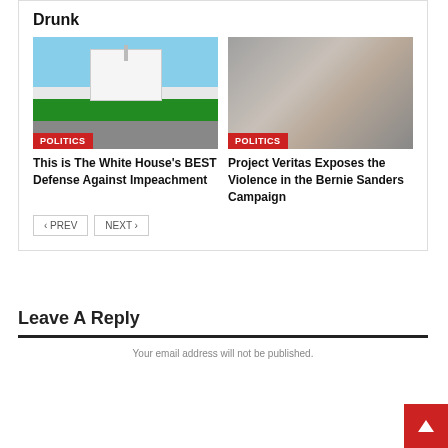Drunk
[Figure (photo): Photo of the White House with blue sky and green lawn]
POLITICS
This is The White House's BEST Defense Against Impeachment
[Figure (photo): Photo of Bernie Sanders speaking with hand raised]
POLITICS
Project Veritas Exposes the Violence in the Bernie Sanders Campaign
< PREV
NEXT >
Leave A Reply
Your email address will not be published.